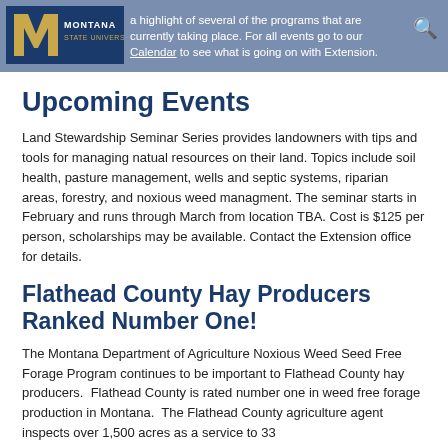a highlight of several of the programs that are currently taking place. For all events go to our Calendar to see what is going on with Extension.
Upcoming Events
Land Stewardship Seminar Series provides landowners with tips and tools for managing natual resources on their land. Topics include soil health, pasture management, wells and septic systems, riparian areas, forestry, and noxious weed managment. The seminar starts in February and runs through March from location TBA. Cost is $125 per person, scholarships may be available. Contact the Extension office for details.
Flathead County Hay Producers Ranked Number One!
The Montana Department of Agriculture Noxious Weed Seed Free Forage Program continues to be important to Flathead County hay producers.  Flathead County is rated number one in weed free forage production in Montana.  The Flathead County agriculture agent inspects over 1,500 acres as a service to 33